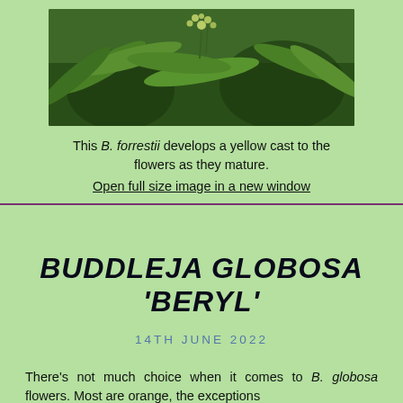[Figure (photo): Photo of B. forrestii plant with green leaves and small pale flower clusters against a dark natural background]
This B. forrestii develops a yellow cast to the flowers as they mature.
Open full size image in a new window
BUDDLEJA GLOBOSA 'BERYL'
14TH JUNE 2022
There's not much choice when it comes to B. globosa flowers. Most are orange, the exceptions